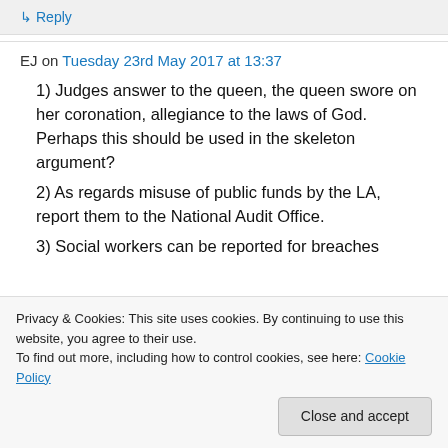↳ Reply
EJ on Tuesday 23rd May 2017 at 13:37
1) Judges answer to the queen, the queen swore on her coronation, allegiance to the laws of God. Perhaps this should be used in the skeleton argument?
2) As regards misuse of public funds by the LA, report them to the National Audit Office.
3) Social workers can be reported for breaches
Privacy & Cookies: This site uses cookies. By continuing to use this website, you agree to their use. To find out more, including how to control cookies, see here: Cookie Policy
Close and accept